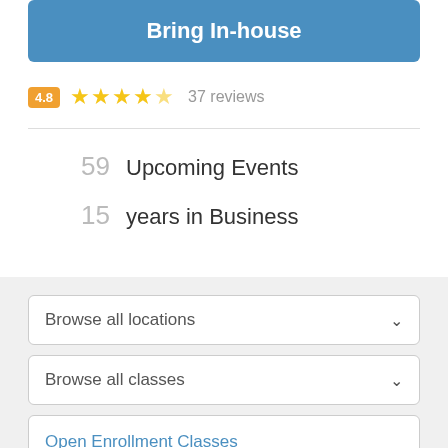[Figure (other): Blue button labeled 'Bring In-house']
4.8 ★★★★½ 37 reviews
59  Upcoming Events
15  years in Business
Browse all locations
Browse all classes
Open Enrollment Classes